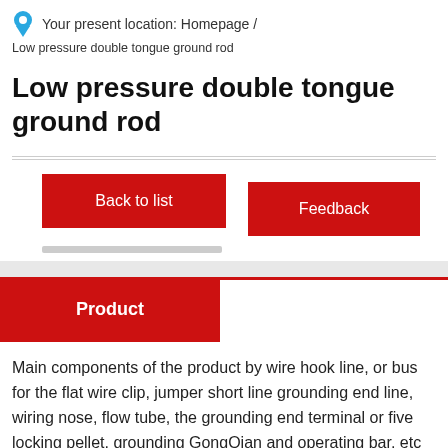Your present location: Homepage /
Low pressure double tongue ground rod
Low pressure double tongue ground rod
Back to list
Feedback
Product
Main components of the product by wire hook line, or bus for the flat wire clip, jumper short line grounding end line, wiring nose, flow tube, the grounding end terminal or five locking pellet, grounding GongQian and operating bar, etc